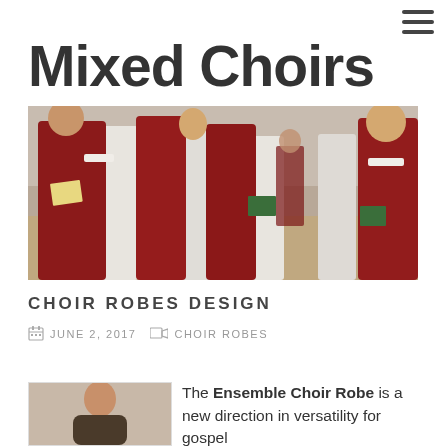≡
Mixed Choirs
[Figure (photo): Group of choir children in red and white robes holding green hymnals/books, processing in a church setting]
CHOIR ROBES DESIGN
JUNE 2, 2017   CHOIR ROBES
[Figure (photo): Thumbnail photo of a person in choir robe]
The Ensemble Choir Robe is a new direction in versatility for gospel